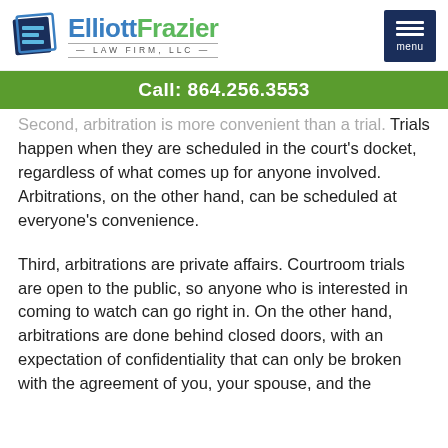[Figure (logo): Elliott Frazier Law Firm, LLC logo with stylized E icon in blue and teal, and firm name with Elliott in blue and Frazier in green]
Call: 864.256.3553
Second, arbitration is more convenient than a trial. Trials happen when they are scheduled in the court’s docket, regardless of what comes up for anyone involved. Arbitrations, on the other hand, can be scheduled at everyone’s convenience.
Third, arbitrations are private affairs. Courtroom trials are open to the public, so anyone who is interested in coming to watch can go right in. On the other hand, arbitrations are done behind closed doors, with an expectation of confidentiality that can only be broken with the agreement of you, your spouse, and the